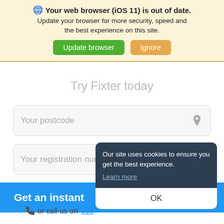🌐 Your web browser (iOS 11) is out of date. Update your browser for more security, speed and the best experience on this site. Update browser | Ignore
Try Fixter today
Your postcode
Your registration number
Get an instant
or call us on 033
Our site uses cookies to ensure you get the best experience. Learn more OK